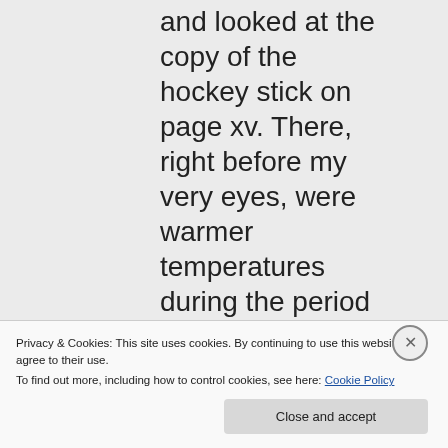and looked at the copy of the hockey stick on page xv. There, right before my very eyes, were warmer temperatures during the period of the
Privacy & Cookies: This site uses cookies. By continuing to use this website, you agree to their use.
To find out more, including how to control cookies, see here: Cookie Policy